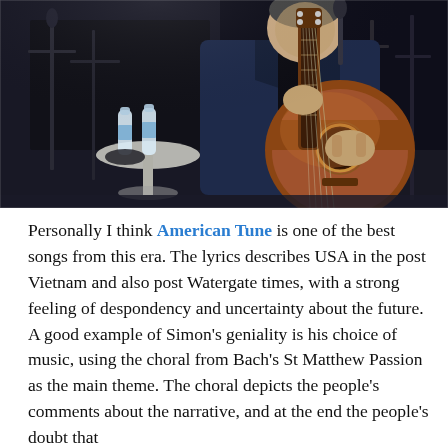[Figure (photo): A man in a dark blue jacket playing an acoustic guitar on a dimly lit stage. Behind him are music stands, microphone stands, and two water bottles on a small round table. The background is dark.]
Personally I think American Tune is one of the best songs from this era. The lyrics describes USA in the post Vietnam and also post Watergate times, with a strong feeling of despondency and uncertainty about the future. A good example of Simon's geniality is his choice of music, using the choral from Bach's St Matthew Passion as the main theme. The choral depicts the people's comments about the narrative, and at the end the people's doubt that